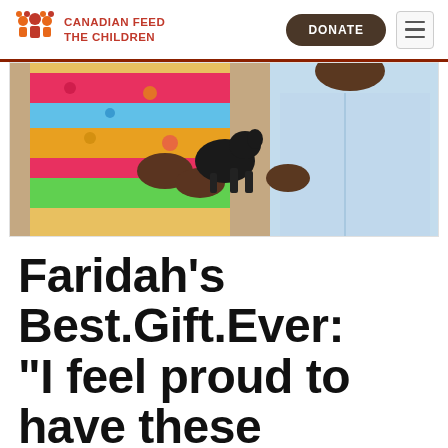CANADIAN FEED THE CHILDREN
[Figure (photo): Two people holding a small black goat or kid animal; one person wearing colorful patterned clothing, the other in a light blue shirt]
Faridah's Best.Gift.Ever: “I feel proud to have these…